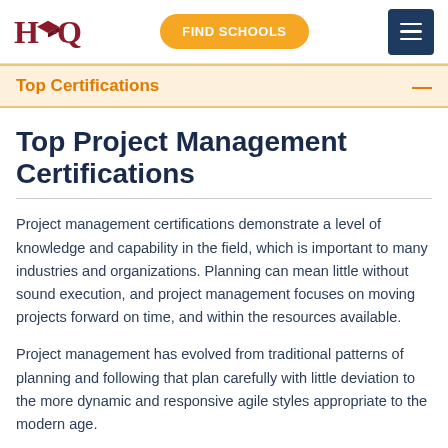HQ | FIND SCHOOLS | Menu
Top Certifications
Top Project Management Certifications
Project management certifications demonstrate a level of knowledge and capability in the field, which is important to many industries and organizations. Planning can mean little without sound execution, and project management focuses on moving projects forward on time, and within the resources available.
Project management has evolved from traditional patterns of planning and following that plan carefully with little deviation to the more dynamic and responsive agile styles appropriate to the modern age.
Project management applies to a wide range of settings and